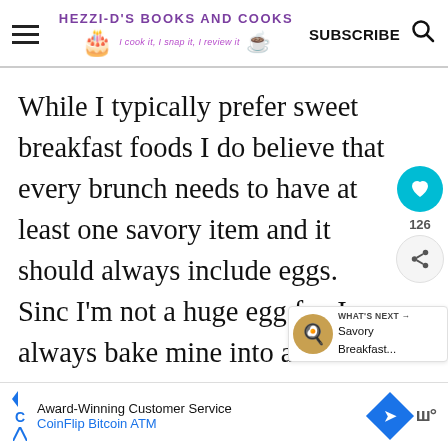HEZZI-D'S BOOKS AND COOKS — I cook it, I snap it, I review it — SUBSCRIBE
While I typically prefer sweet breakfast foods I do believe that every brunch needs to have at least one savory item and it should always include eggs.  Since I'm not a huge egg fan I always bake mine into a casserole with lots of yummy ingredients.  Brunch eggs need to have a meat, a cheese, and a variety of herbs or seasonings
WHAT'S NEXT → Savory Breakfast...
Award-Winning Customer Service CoinFlip Bitcoin ATM